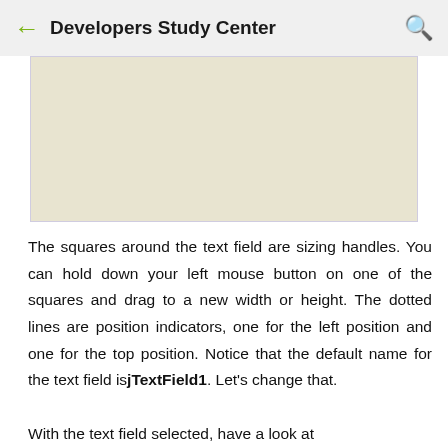← Developers Study Center 🔍
[Figure (screenshot): A beige/cream colored rectangle representing a text field with sizing handles, shown with a light lavender border, displayed within a design tool interface.]
The squares around the text field are sizing handles. You can hold down your left mouse button on one of the squares and drag to a new width or height. The dotted lines are position indicators, one for the left position and one for the top position. Notice that the default name for the text field is jTextField1. Let's change that.
With the text field selected, have a look at